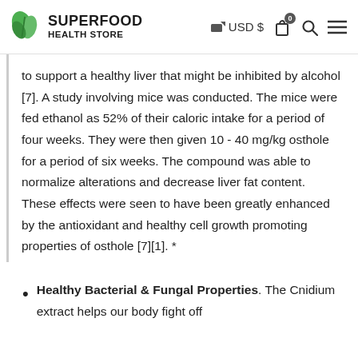SUPERFOOD HEALTH STORE — USD $ [cart] [search] [menu]
to support a healthy liver that might be inhibited by alcohol [7]. A study involving mice was conducted. The mice were fed ethanol as 52% of their caloric intake for a period of four weeks. They were then given 10 - 40 mg/kg osthole for a period of six weeks. The compound was able to normalize alterations and decrease liver fat content. These effects were seen to have been greatly enhanced by the antioxidant and healthy cell growth promoting properties of osthole [7][1]. *
Healthy Bacterial & Fungal Properties. The Cnidium extract helps our body fight off